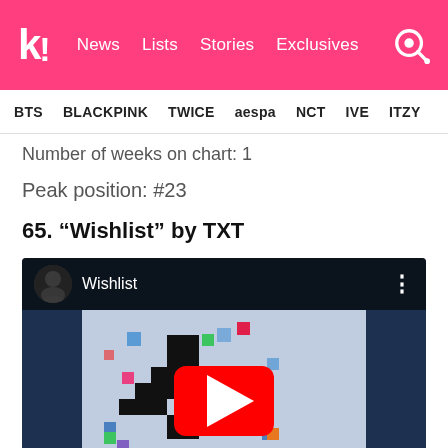k! News Lists Stories Exclusives
BTS BLACKPINK TWICE aespa NCT IVE ITZY
Number of weeks on chart: 1
Peak position: #23
65. “Wishlist” by TXT
[Figure (screenshot): YouTube video embed showing the music video 'Wishlist' with a colorful pixel-art thumbnail on a dark blue background, with a red YouTube play button in the center.]